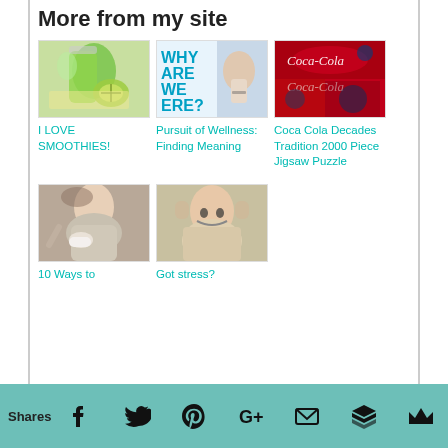More from my site
[Figure (photo): Green smoothie drink with kiwi fruit on a plate]
I LOVE SMOOTHIES!
[Figure (photo): Text reading WHY ARE WE HERE? with a hand holding a pen]
Pursuit of Wellness: Finding Meaning
[Figure (photo): Coca Cola vintage signs and logos collage]
Coca Cola Decades Tradition 2000 Piece Jigsaw Puzzle
[Figure (photo): Woman blowing nose, appearing sick]
10 Ways to
[Figure (photo): Person screaming and holding head in stress]
Got stress?
Shares — social share icons: Facebook, Twitter, Pinterest, Google+, Email, Buffer, Flipboard